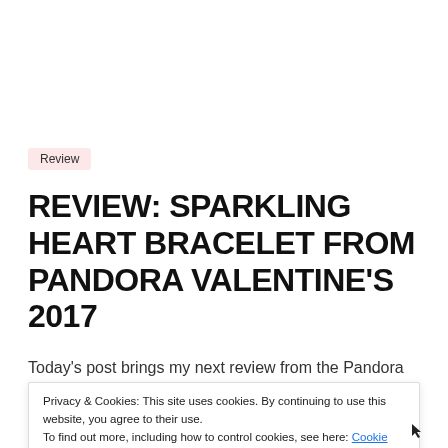Review
REVIEW: SPARKLING HEART BRACELET FROM PANDORA VALENTINE'S 2017
Today's post brings my next review from the Pandora
Valentine's 2017 collection with a closer look at Pandora's latest sparkling range – the Sparkling Heart charm bracelet for the Moments line! :) This is one of two pieces I got from the collection; I've been good and have stuck on my Pandora ban very well so [...]
Privacy & Cookies: This site uses cookies. By continuing to use this website, you agree to their use. To find out more, including how to control cookies, see here: Cookie Policy
Close and accept